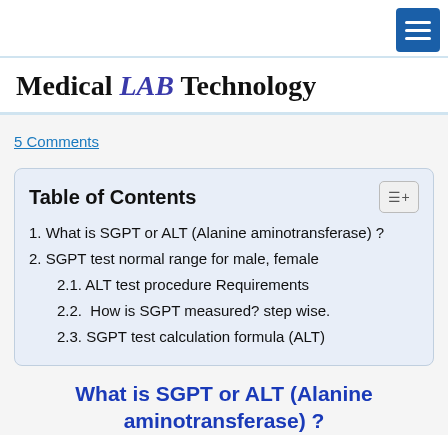Medical LAB Technology
Medical LAB Technology
5 Comments
| Table of Contents |
| --- |
| 1. What is SGPT or ALT (Alanine aminotransferase) ? |
| 2. SGPT test normal range for male, female |
| 2.1. ALT test procedure Requirements |
| 2.2. How is SGPT measured? step wise. |
| 2.3. SGPT test calculation formula (ALT) |
What is SGPT or ALT (Alanine aminotransferase) ?